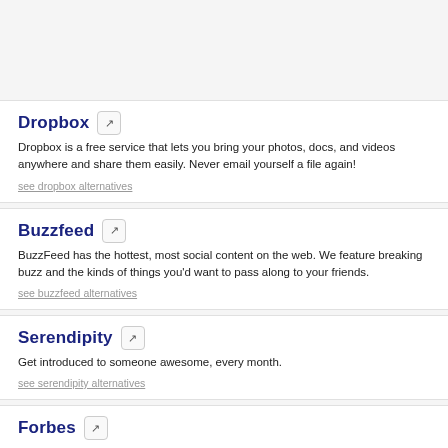Dropbox
Dropbox is a free service that lets you bring your photos, docs, and videos anywhere and share them easily. Never email yourself a file again!
see dropbox alternatives
Buzzfeed
BuzzFeed has the hottest, most social content on the web. We feature breaking buzz and the kinds of things you'd want to pass along to your friends.
see buzzfeed alternatives
Serendipity
Get introduced to someone awesome, every month.
see serendipity alternatives
Forbes
Forbes is a global media company, focusing on business, investing, technology, entrepreneurship, leadership, and lifestyle.
see forbes alternatives
ChooseMyPC
Automatically generate a list of PC parts for your budget and requirements.